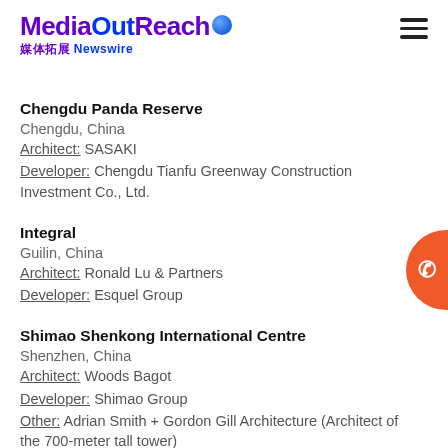[Figure (logo): MediaOutReach logo with globe icon and Chinese text '媒体拓展 Newswire']
Chengdu Panda Reserve
Chengdu, China
Architect: SASAKI
Developer: Chengdu Tianfu Greenway Construction Investment Co., Ltd.
Integral
Guilin, China
Architect: Ronald Lu & Partners
Developer: Esquel Group
Shimao Shenkong International Centre
Shenzhen, China
Architect: Woods Bagot
Developer: Shimao Group
Other: Adrian Smith + Gordon Gill Architecture (Architect of the 700-meter tall tower)